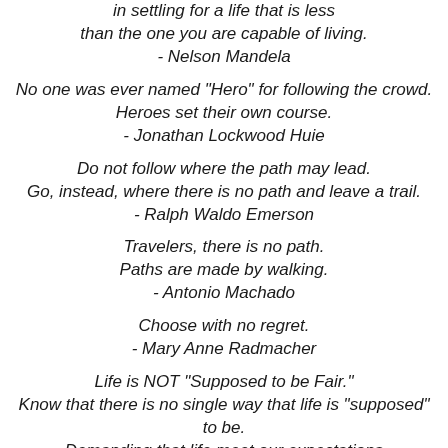in settling for a life that is less than the one you are capable of living. - Nelson Mandela
No one was ever named "Hero" for following the crowd. Heroes set their own course. - Jonathan Lockwood Huie
Do not follow where the path may lead. Go, instead, where there is no path and leave a trail. - Ralph Waldo Emerson
Travelers, there is no path. Paths are made by walking. - Antonio Machado
Choose with no regret. - Mary Anne Radmacher
Life is NOT "Supposed to be Fair." Know that there is no single way that life is "supposed" to be. Demanding that life meet our expectations is a sure fire recipe for a miserable existence. Life is a game with no rules. Life just happens to us regardless of our best intentions.